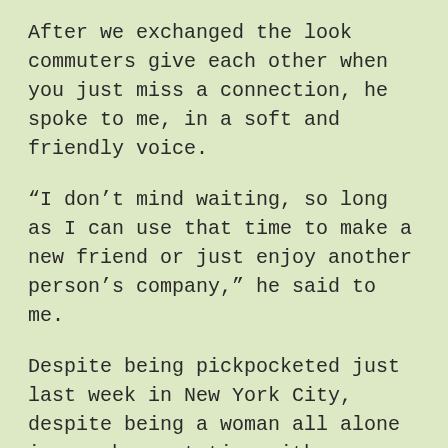After we exchanged the look commuters give each other when you just miss a connection, he spoke to me, in a soft and friendly voice.
“I don’t mind waiting, so long as I can use that time to make a new friend or just enjoy another person’s company,” he said to me.
Despite being pickpocketed just last week in New York City, despite being a woman all alone in a subway station with a young man I didn’t know, and not being at my strongest. I didn’t even hesitate.
I introduced myself and confided I had recently moved here from NY and that I found Atlanta’s mass transit system frustrating.